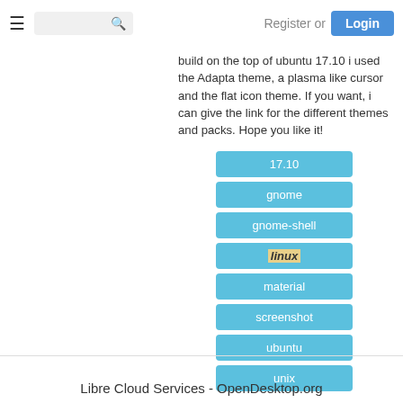Register or Login
build on the top of ubuntu 17.10 i used the Adapta theme, a plasma like cursor and the flat icon theme. If you want, i can give the link for the different themes and packs. Hope you like it!
17.10
gnome
gnome-shell
linux
material
screenshot
ubuntu
unix
Libre Cloud Services - OpenDesktop.org